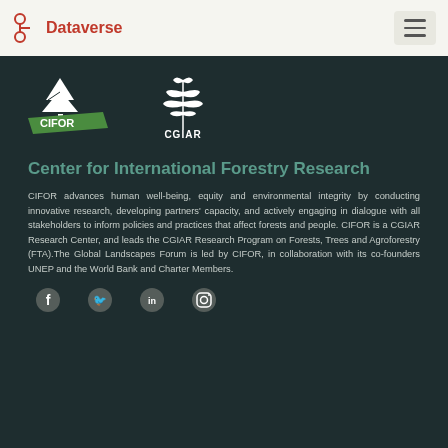Dataverse
[Figure (logo): CIFOR logo with white tree and green banner]
[Figure (logo): CGIAR logo with wheat/plant emblem]
Center for International Forestry Research
CIFOR advances human well-being, equity and environmental integrity by conducting innovative research, developing partners' capacity, and actively engaging in dialogue with all stakeholders to inform policies and practices that affect forests and people. CIFOR is a CGIAR Research Center, and leads the CGIAR Research Program on Forests, Trees and Agroforestry (FTA).The Global Landscapes Forum is led by CIFOR, in collaboration with its co-founders UNEP and the World Bank and Charter Members.
[Figure (illustration): Social media icons row: Facebook, Twitter, LinkedIn, Instagram]